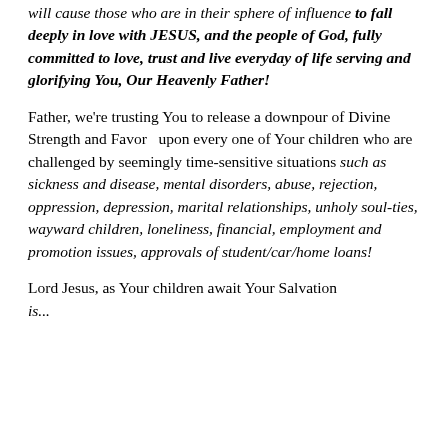will cause those who are in their sphere of influence to fall deeply in love with JESUS, and the people of God, fully committed to love, trust and live everyday of life serving and glorifying You, Our Heavenly Father!
Father, we're trusting You to release a downpour of Divine Strength and Favor  upon every one of Your children who are challenged by seemingly time-sensitive situations such as sickness and disease, mental disorders, abuse, rejection, oppression, depression, marital relationships, unholy soul-ties, wayward children, loneliness, financial, employment and promotion issues, approvals of student/car/home loans!
Lord Jesus, as Your children await Your Salvation in...